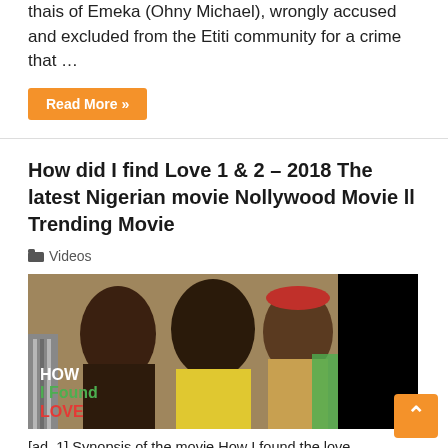thais of Emeka (Ohny Michael), wrongly accused and excluded from the Etiti community for a crime that …
Read More »
How did I find Love 1 & 2 – 2018 The latest Nigerian movie Nollywood Movie ll Trending Movie
Videos
[Figure (photo): Movie thumbnail showing actors and 'HOW I Found LOVE' title overlay on left; black panel on right]
[ad  1] Synopsis of the movie How I found the love